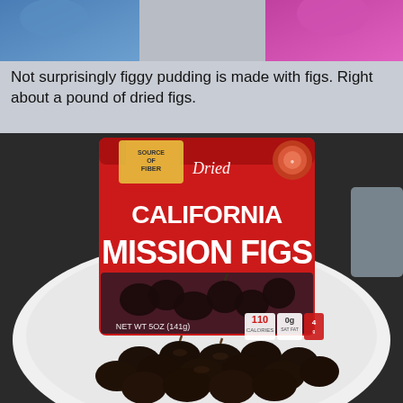[Figure (photo): Top portion of a social media post showing two children partially visible - one in a blue jacket on the left, one in a pink flamingo outfit on the right, against a light background.]
Not surprisingly figgy pudding is made with figs. Right about a pound of dried figs.
[Figure (photo): A red bag of Dried California Mission Figs on a white plate, with a pile of dark dried figs in front of it. The bag shows nutrition info including 110 calories, 0g fat. The bag states SOURCE OF FIBER and shows the weight as 5oz (141g).]